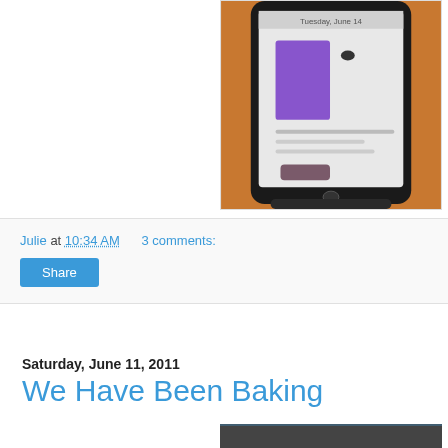[Figure (photo): A smartphone or tablet device displaying a screen with a purple/violet element, sitting in a dock or stand on an orange surface. The device screen shows 'Tuesday, June 14' at the top.]
Julie at 10:34 AM    3 comments:
Share
Saturday, June 11, 2011
We Have Been Baking
[Figure (photo): Partial photo visible at bottom of page, appears to be a baking-related image.]